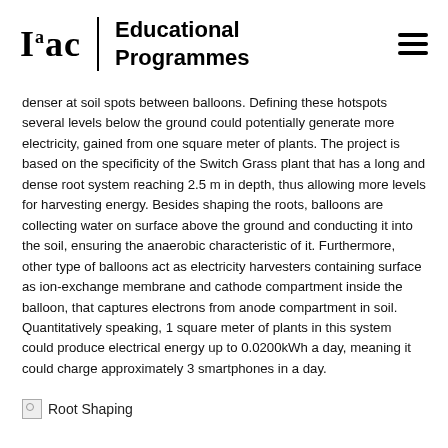Iaac | Educational Programmes
denser at soil spots between balloons. Defining these hotspots several levels below the ground could potentially generate more electricity, gained from one square meter of plants. The project is based on the specificity of the Switch Grass plant that has a long and dense root system reaching 2.5 m in depth, thus allowing more levels for harvesting energy. Besides shaping the roots, balloons are collecting water on surface above the ground and conducting it into the soil, ensuring the anaerobic characteristic of it. Furthermore, other type of balloons act as electricity harvesters containing surface as ion-exchange membrane and cathode compartment inside the balloon, that captures electrons from anode compartment in soil. Quantitatively speaking, 1 square meter of plants in this system could produce electrical energy up to 0.0200kWh a day, meaning it could charge approximately 3 smartphones in a day.
Root Shaping